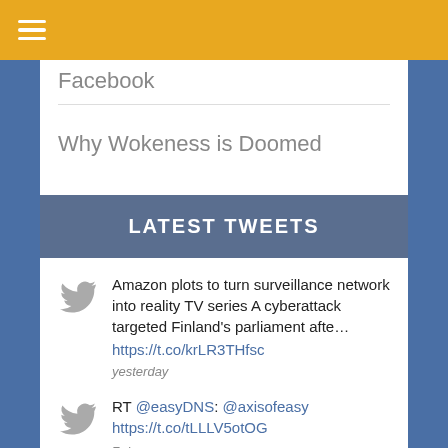☰ (hamburger menu)
Facebook
Why Wokeness is Doomed
LATEST TWEETS
Amazon plots to turn surveillance network into reality TV series A cyberattack targeted Finland's parliament afte... https://t.co/krLR3THfsc yesterday
RT @easyDNS: @axisofeasy https://t.co/tLLLV5otOG 7 days ago